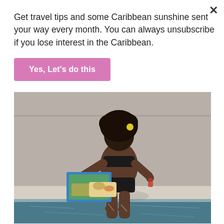Get travel tips and some Caribbean sunshine sent your way every month. You can always unsubscribe if you lose interest in the Caribbean.
Yes, Let's do this
JULY 8, 2022
[Figure (photo): A woman in a black bikini sitting at the edge of a swimming pool, holding a travel magazine and a drink, with her feet in the water.]